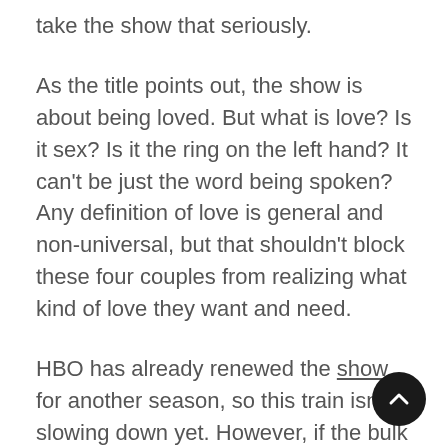take the show that seriously.
As the title points out, the show is about being loved. But what is love? Is it sex? Is it the ring on the left hand? It can't be just the word being spoken? Any definition of love is general and non-universal, but that shouldn't block these four couples from realizing what kind of love they want and need.
HBO has already renewed the show for another season, so this train isn't slowing down yet. However, if the bulk of the problem is admitting that there is a problem, then what's really next for these couples?